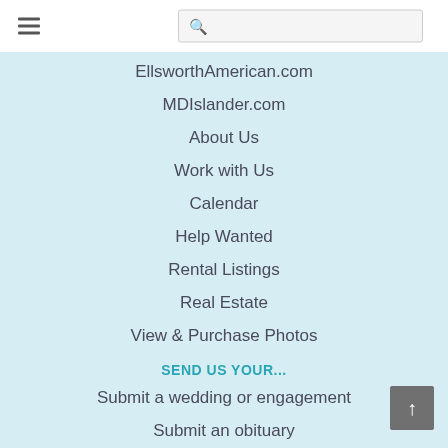≡  [search bar]
EllsworthAmerican.com
MDIslander.com
About Us
Work with Us
Calendar
Help Wanted
Rental Listings
Real Estate
View & Purchase Photos
SEND US YOUR...
Submit a wedding or engagement
Submit an obituary
Submit a photo
Submit news
Submit a calendar event